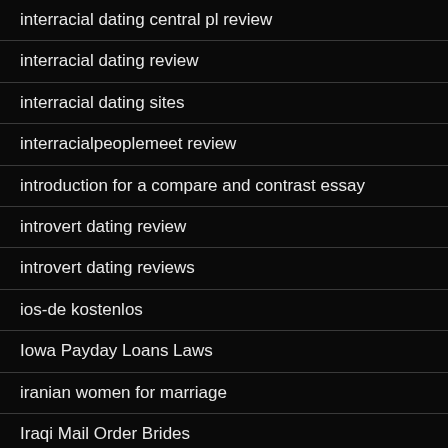interracial dating central pl review
interracial dating review
interracial dating sites
interracialpeoplemeet review
introduction for a compare and contrast essay
introvert dating review
introvert dating reviews
ios-de kostenlos
Iowa Payday Loans Laws
iranian women for marriage
Iraqi Mail Order Brides
Irish Bride
is bbpeoplemeet free?